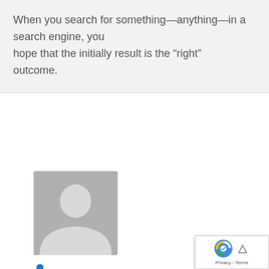When you search for something—anything—in a search engine, you hope that the initially result is the “right” outcome.
ð¤
June 7, 2022
Job2Careers is a job web page visited by millions job seekers.